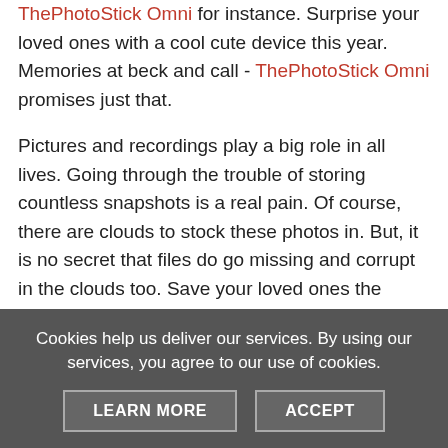ThePhotoStick Omni for instance. Surprise your loved ones with a cool cute device this year. Memories at beck and call - ThePhotoStick Omni promises just that.
Pictures and recordings play a big role in all lives. Going through the trouble of storing countless snapshots is a real pain. Of course, there are clouds to stock these photos in. But, it is no secret that files do go missing and corrupt in the clouds too. Save your loved ones the hassle of losing crucial files in the crammed clouds. ThePhotoStick Omni is leading-edge in all possible ways. Here's why:
• The small gadget ensures that all files stored are safekept
• Using ThePhotoStick Omni is easy-breezy
Cookies help us deliver our services. By using our services, you agree to our use of cookies.